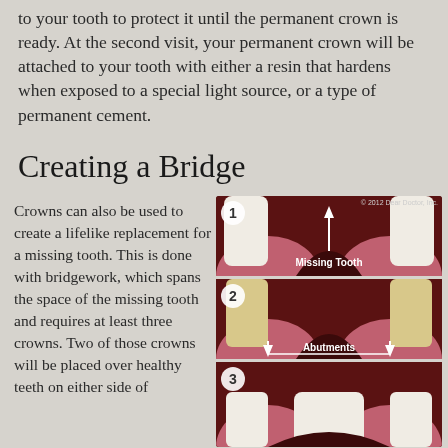to your tooth to protect it until the permanent crown is ready. At the second visit, your permanent crown will be attached to your tooth with either a resin that hardens when exposed to a special light source, or a type of permanent cement.
Creating a Bridge
Crowns can also be used to create a lifelike replacement for a missing tooth. This is done with bridgework, which spans the space of the missing tooth and requires at least three crowns. Two of those crowns will be placed over healthy teeth on either side of
[Figure (illustration): Three-panel dental illustration showing bridge creation steps: Panel 1 shows a missing tooth with an upward arrow labeled 'Missing Tooth'; Panel 2 shows abutment teeth prepared with downward arrows labeled 'Abutments'; Panel 3 shows the beginning of the third step. Copyright 2012 Dear Doctor, Inc.]